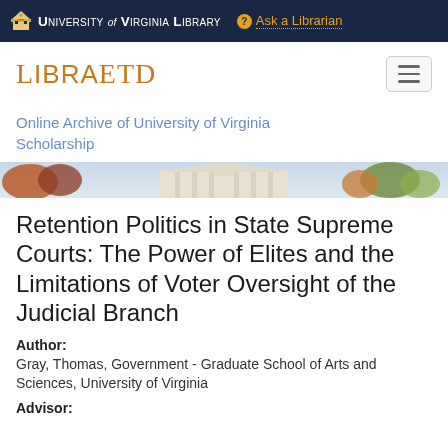University of Virginia Library  Ask a Librarian
[Figure (logo): LibraETD logo with hamburger menu button]
Online Archive of University of Virginia Scholarship
[Figure (photo): Hero banner photo of University of Virginia building with autumn trees]
Retention Politics in State Supreme Courts: The Power of Elites and the Limitations of Voter Oversight of the Judicial Branch
Author:
Gray, Thomas, Government - Graduate School of Arts and Sciences, University of Virginia
Advisor: